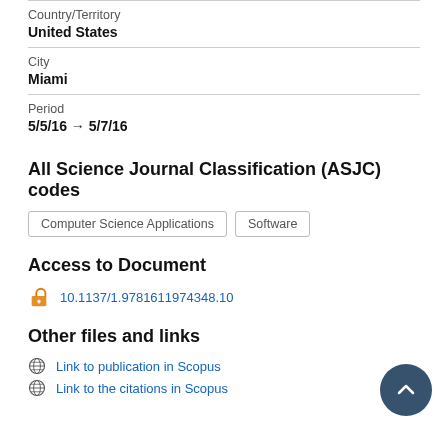Country/Territory
United States
City
Miami
Period
5/5/16 → 5/7/16
All Science Journal Classification (ASJC) codes
Computer Science Applications
Software
Access to Document
10.1137/1.9781611974348.10
Other files and links
Link to publication in Scopus
Link to the citations in Scopus